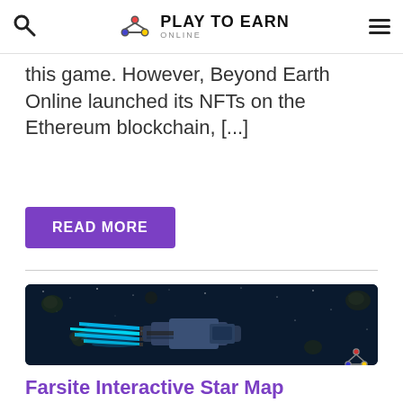Play To Earn Online
this game. However, Beyond Earth Online launched its NFTs on the Ethereum blockchain, [...]
READ MORE
[Figure (illustration): Space scene showing a large spacecraft with glowing blue thrusters flying through asteroid field in dark space]
Farsite Interactive Star Map